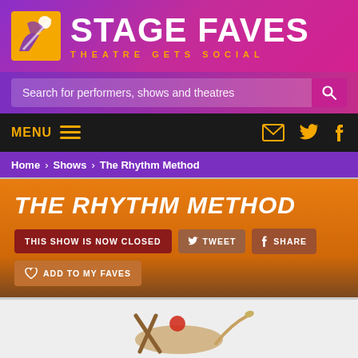[Figure (logo): Stage Faves logo with orange icon and white/gold text on purple background. STAGE FAVES in large white bold text, THEATRE GETS SOCIAL in gold spaced letters.]
Search for performers, shows and theatres
MENU
Home › Shows › The Rhythm Method
THE RHYTHM METHOD
THIS SHOW IS NOW CLOSED
TWEET
SHARE
ADD TO MY FAVES
[Figure (photo): Partial image of theatrical props/costumes against white background, visible at the bottom of the page.]